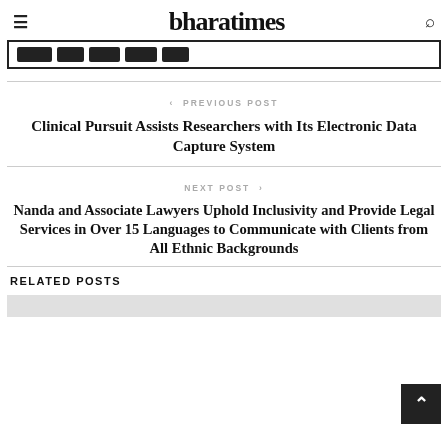bharatimes
[Figure (screenshot): Navigation bar with hamburger menu on left, bharatimes logo in center, search icon on right, and dark navigation pills below]
< PREVIOUS POST
Clinical Pursuit Assists Researchers with Its Electronic Data Capture System
NEXT POST >
Nanda and Associate Lawyers Uphold Inclusivity and Provide Legal Services in Over 15 Languages to Communicate with Clients from All Ethnic Backgrounds
RELATED POSTS